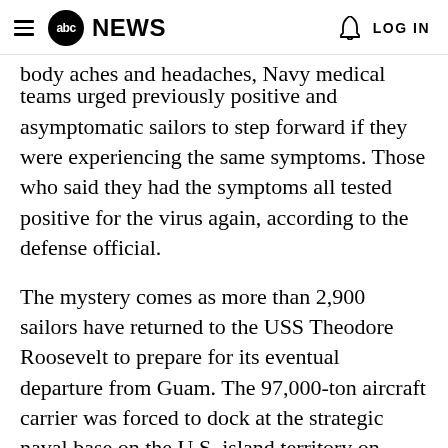abc NEWS   LOG IN
body aches and headaches, Navy medical teams urged previously positive and asymptomatic sailors to step forward if they were experiencing the same symptoms. Those who said they had the symptoms all tested positive for the virus again, according to the defense official.
The mystery comes as more than 2,900 sailors have returned to the USS Theodore Roosevelt to prepare for its eventual departure from Guam. The 97,000-ton aircraft carrier was forced to dock at the strategic naval base on the U.S. island territory on March 27 due to a COVID-19 outbreak among the roughly 5,000